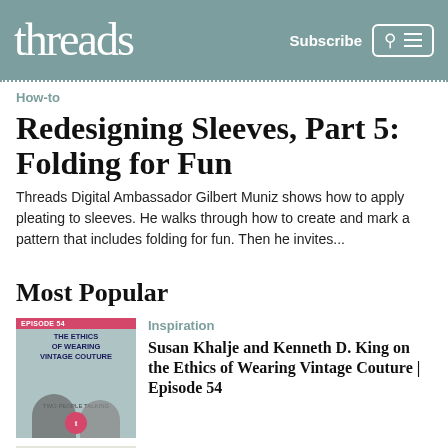threads | Subscribe
How-to
Redesigning Sleeves, Part 5: Folding for Fun
Threads Digital Ambassador Gilbert Muniz shows how to apply pleating to sleeves. He walks through how to create and mark a pattern that includes folding for fun. Then he invites...
Most Popular
[Figure (photo): Podcast episode thumbnail for 'The Ethics of Wearing Vintage Couture' featuring two people]
Inspiration
Susan Khalje and Kenneth D. King on the Ethics of Wearing Vintage Couture | Episode 54
[Figure (photo): A black sweater on a mannequin against a light background]
How-to
Sewing Techniques for a Boyfriend...